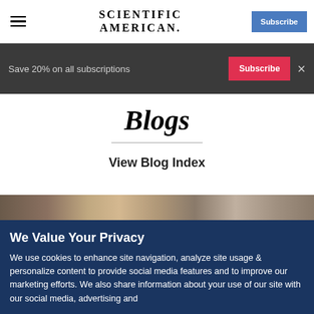SCIENTIFIC AMERICAN
Save 20% on all subscriptions
Blogs
View Blog Index
[Figure (photo): Horizontal strip of photos showing people]
We Value Your Privacy
We use cookies to enhance site navigation, analyze site usage & personalize content to provide social media features and to improve our marketing efforts. We also share information about your use of our site with our social media, advertising and